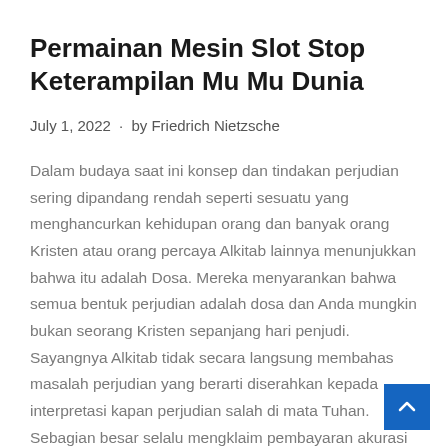Permainan Mesin Slot Stop Keterampilan Mu Mu Dunia
July 1, 2022 · by Friedrich Nietzsche
Dalam budaya saat ini konsep dan tindakan perjudian sering dipandang rendah seperti sesuatu yang menghancurkan kehidupan orang dan banyak orang Kristen atau orang percaya Alkitab lainnya menunjukkan bahwa itu adalah Dosa. Mereka menyarankan bahwa semua bentuk perjudian adalah dosa dan Anda mungkin bukan seorang Kristen sepanjang hari penjudi. Sayangnya Alkitab tidak secara langsung membahas masalah perjudian yang berarti diserahkan kepada interpretasi kapan perjudian salah di mata Tuhan. Sebagian besar selalu mengklaim pembayaran akurasi yang unggul. Saat